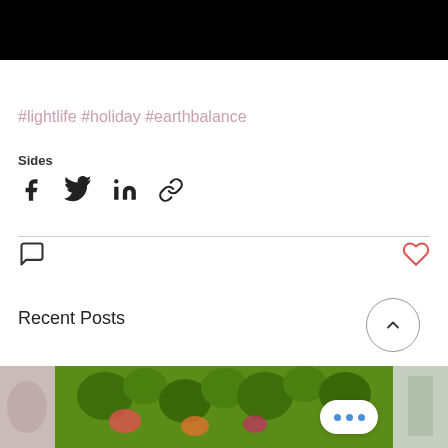[Figure (photo): Black bar at top of page, partially visible image area]
#lightlife #holiday #earthbalance
Sides
[Figure (infographic): Social share icons: Facebook, Twitter, LinkedIn, link/chain]
[Figure (infographic): Comment bubble icon on left, heart/like icon on right]
Recent Posts
[Figure (photo): Three post thumbnails: left partial food image, center broccoli salad, right partial image. Scroll-to-top circle button with chevron up. Three-dots bubble overlay.]